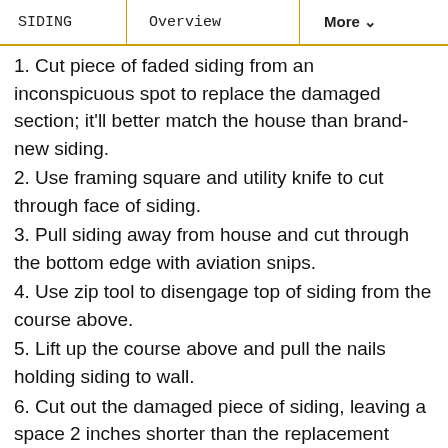SIDING | Overview | More
1. Cut piece of faded siding from an inconspicuous spot to replace the damaged section; it'll better match the house than brand-new siding.
2. Use framing square and utility knife to cut through face of siding.
3. Pull siding away from house and cut through the bottom edge with aviation snips.
4. Use zip tool to disengage top of siding from the course above.
5. Lift up the course above and pull the nails holding siding to wall.
6. Cut out the damaged piece of siding, leaving a space 2 inches shorter than the replacement piece.
7. Use the snips to cut away about two inches of the